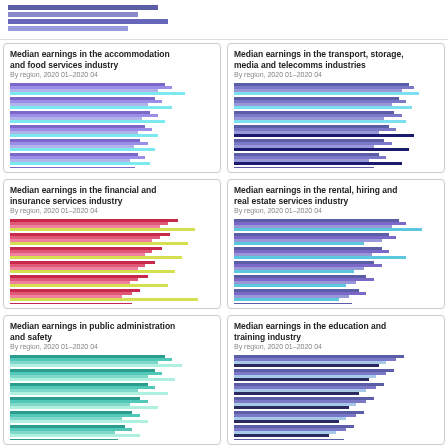[Figure (bar-chart): Horizontal bar chart by region, 2020 Q1–2020 Q4, purple/blue bars]
[Figure (bar-chart): Horizontal bar chart by region, 2020 Q1–2020 Q4, purple/blue/dark bars]
[Figure (bar-chart): Horizontal bar chart by region, 2020 Q1–2020 Q4, red/pink/yellow-green bars]
[Figure (bar-chart): Horizontal bar chart by region, 2020 Q1–2020 Q4, purple/blue bars]
[Figure (bar-chart): Horizontal bar chart by region, 2020 Q1–2020 Q4, teal/green/blue bars]
[Figure (bar-chart): Horizontal bar chart by region, 2020 Q1–2020 Q4, purple/dark/light blue bars]